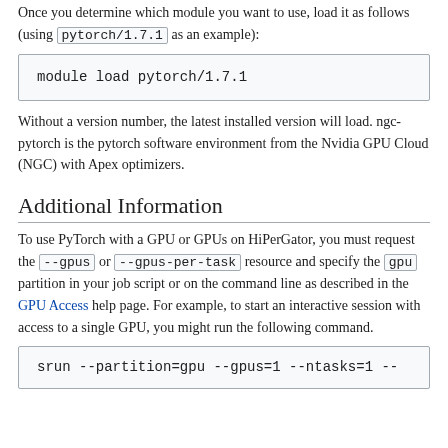Once you determine which module you want to use, load it as follows (using pytorch/1.7.1 as an example):
module load pytorch/1.7.1
Without a version number, the latest installed version will load. ngc-pytorch is the pytorch software environment from the Nvidia GPU Cloud (NGC) with Apex optimizers.
Additional Information
To use PyTorch with a GPU or GPUs on HiPerGator, you must request the --gpus or --gpus-per-task resource and specify the gpu partition in your job script or on the command line as described in the GPU Access help page. For example, to start an interactive session with access to a single GPU, you might run the following command.
srun --partition=gpu --gpus=1 --ntasks=1 --